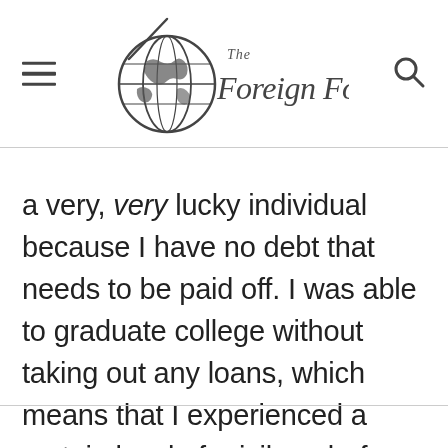The Foreign Fork
a very, very lucky individual because I have no debt that needs to be paid off. I was able to graduate college without taking out any loans, which means that I experienced a certain level of privilege before even stepping foot out of my door.